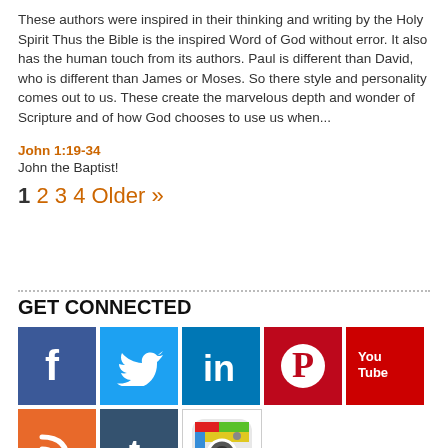These authors were inspired in their thinking and writing by the Holy Spirit Thus the Bible is the inspired Word of God without error. It also has the human touch from its authors. Paul is different than David, who is different than James or Moses. So there style and personality comes out to us. These create the marvelous depth and wonder of Scripture and of how God chooses to use us when...
John 1:19-34
John the Baptist!
1 2 3 4 Older »
GET CONNECTED
[Figure (infographic): Social media icon grid: Facebook (blue), Twitter (light blue), LinkedIn (dark blue), Pinterest (red), YouTube (red), RSS (orange), Tumblr (dark blue), Instagram (white/photo)]